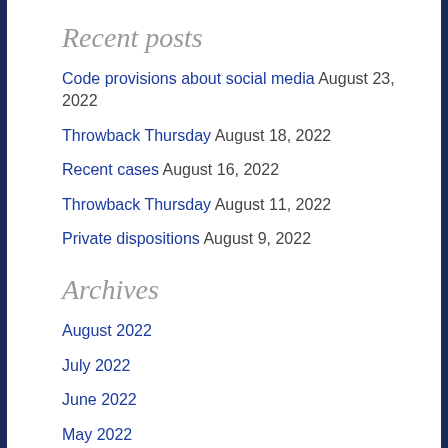Recent posts
Code provisions about social media August 23, 2022
Throwback Thursday August 18, 2022
Recent cases August 16, 2022
Throwback Thursday August 11, 2022
Private dispositions August 9, 2022
Archives
August 2022
July 2022
June 2022
May 2022
April 2022